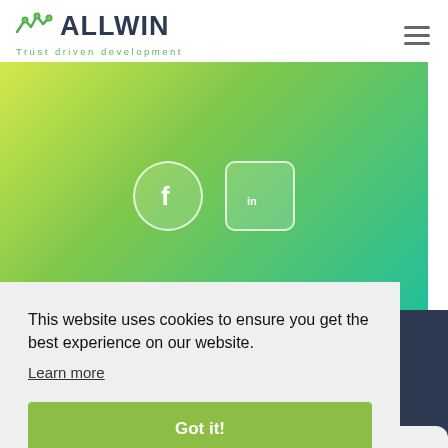[Figure (logo): Allwin logo with graph/network icon and tagline 'Trust driven development']
[Figure (illustration): Hero section with yellow-green-teal gradient background containing Facebook and LinkedIn social media icons in circular outlines]
This website uses cookies to ensure you get the best experience on our website.
Learn more
Got it!